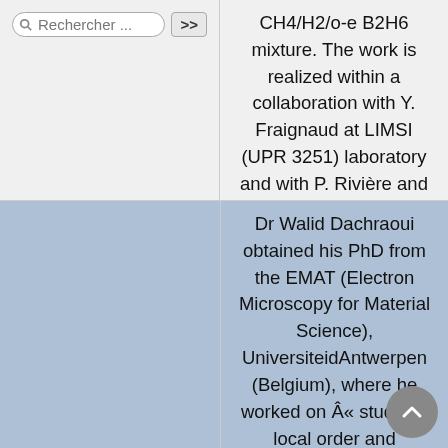[Figure (screenshot): Search bar UI element with text 'Rechercher ...' and a '>>' button]
CH4/H2/o-e B2H6 mixture. The work is realized within a collaboration with Y. Fraignaud at LIMSI (UPR 3251) laboratory and with P. Rivière and A. Soufiani at EM2C (UPR 288).
Dr Walid Dachraoui obtained his PhD from the EMAT (Electron Microscopy for Material Science), UniversiteidAntwerpen (Belgium), where he worked on « studying local order and octahedral tilting in perovskite-based compounds by Transmission Electron Microscopy ». He is now